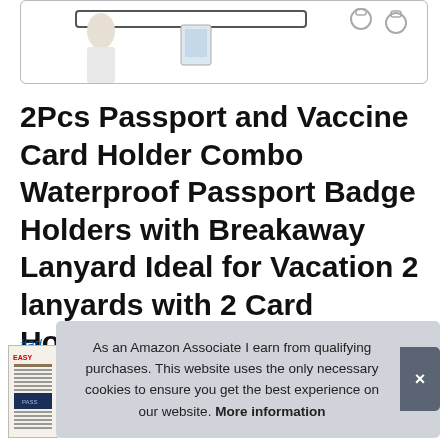[Figure (photo): Partial product image showing a person wearing a lanyard with a card holder, and metal hardware clips, in a white bordered box at top of page.]
2Pcs Passport and Vaccine Card Holder Combo Waterproof Passport Badge Holders with Breakaway Lanyard Ideal for Vacation 2 lanyards with 2 Card Holders【KL】
#ad
As an Amazon Associate I earn from qualifying purchases. This website uses the only necessary cookies to ensure you get the best experience on our website. More information